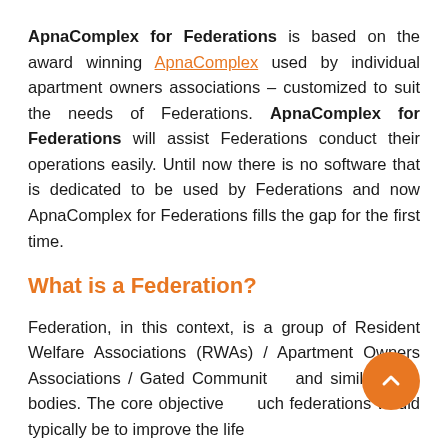ApnaComplex for Federations is based on the award winning ApnaComplex used by individual apartment owners associations – customized to suit the needs of Federations. ApnaComplex for Federations will assist Federations conduct their operations easily. Until now there is no software that is dedicated to be used by Federations and now ApnaComplex for Federations fills the gap for the first time.
What is a Federation?
Federation, in this context, is a group of Resident Welfare Associations (RWAs) / Apartment Owners Associations / Gated Communities and similar such bodies. The core objective of such federations would typically be to improve the life